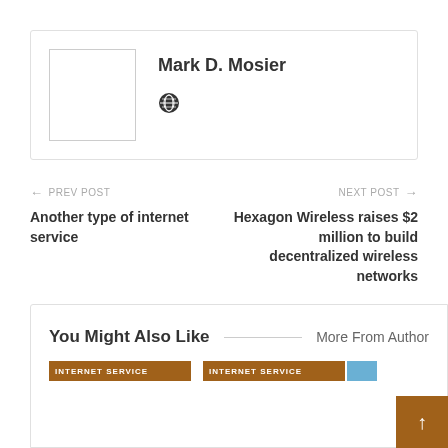[Figure (other): Author card with avatar placeholder and name Mark D. Mosier with a globe/world icon]
Mark D. Mosier
← PREV POST
Another type of internet service
NEXT POST →
Hexagon Wireless raises $2 million to build decentralized wireless networks
You Might Also Like
More From Author
INTERNET SERVICE
INTERNET SERVICE